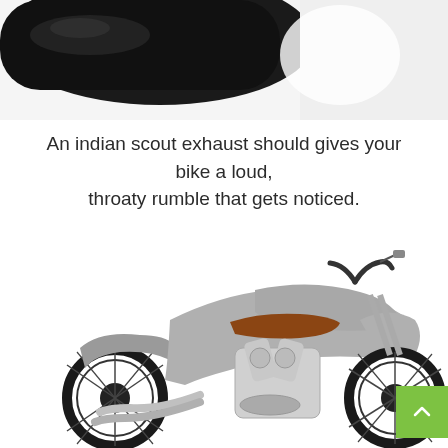[Figure (photo): Partial view of a black motorcycle exhaust pipe or component, cropped at the top of the page]
An indian scout exhaust should gives your bike a loud, throaty rumble that gets noticed.
[Figure (photo): Silver Indian Scout motorcycle shown in full side profile view against a white background, featuring brown seat, chrome V-twin engine, and black exhaust pipes]